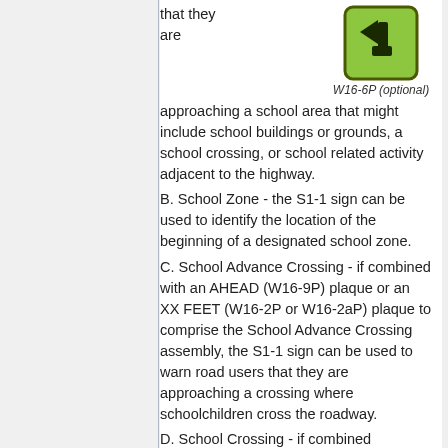[Figure (illustration): Green square road sign with a left-turn arrow (W16-6P optional), shown at top of right column]
approaching a school area that might include school buildings or grounds, a school crossing, or school related activity adjacent to the highway.
B. School Zone - the S1-1 sign can be used to identify the location of the beginning of a designated school zone.
C. School Advance Crossing - if combined with an AHEAD (W16-9P) plaque or an XX FEET (W16-2P or W16-2aP) plaque to comprise the School Advance Crossing assembly, the S1-1 sign can be used to warn road users that they are approaching a crossing where schoolchildren cross the roadway.
D. School Crossing - if combined